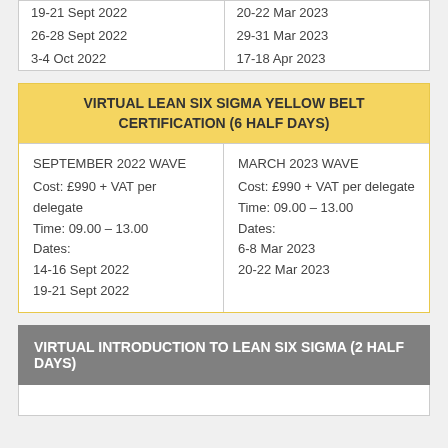|  |  |
| --- | --- |
| 19-21 Sept 2022 | 20-22 Mar 2023 |
| 26-28 Sept 2022 | 29-31 Mar 2023 |
| 3-4 Oct 2022 | 17-18 Apr 2023 |
VIRTUAL LEAN SIX SIGMA YELLOW BELT CERTIFICATION (6 HALF DAYS)
| SEPTEMBER 2022 WAVE | MARCH 2023 WAVE |
| --- | --- |
| Cost: £990 + VAT per delegate | Cost: £990 + VAT per delegate |
| Time: 09.00 – 13.00 | Time: 09.00 – 13.00 |
| Dates: | Dates: |
| 14-16 Sept 2022 | 6-8 Mar 2023 |
| 19-21 Sept 2022 | 20-22 Mar 2023 |
VIRTUAL INTRODUCTION TO LEAN SIX SIGMA (2 HALF DAYS)